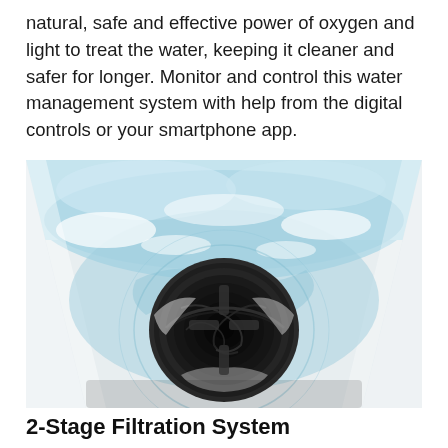natural, safe and effective power of oxygen and light to treat the water, keeping it cleaner and safer for longer. Monitor and control this water management system with help from the digital controls or your smartphone app.
[Figure (photo): Close-up aerial view looking down into a white washing machine drum filled with clear blue-tinted water, with a dark circular agitator at the center surrounded by swirling water and white foam.]
2-Stage Filtration System